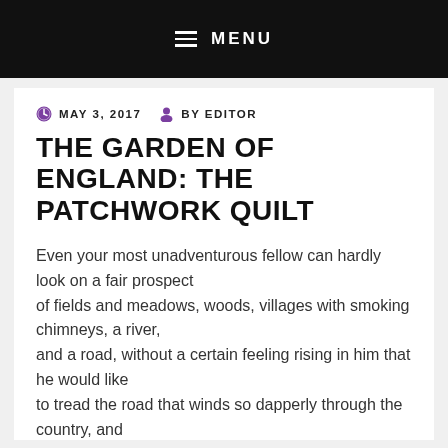MENU
MAY 3, 2017   BY EDITOR
THE GARDEN OF ENGLAND: THE PATCHWORK QUILT
Even your most unadventurous fellow can hardly look on a fair prospect of fields and meadows, woods, villages with smoking chimneys, a river, and a road, without a certain feeling rising in him that he would like to tread the road that winds so dapperly through the country, and